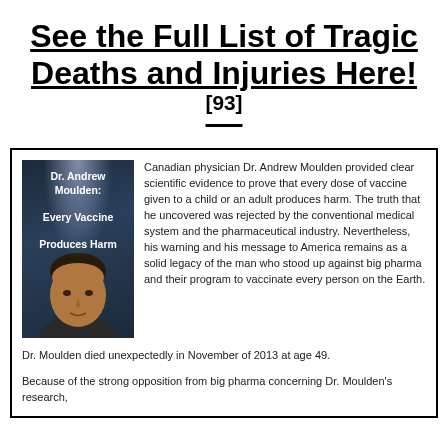See the Full List of Tragic Deaths and Injuries Here! [93]
[Figure (illustration): Book cover image for 'Dr. Andrew Moulden: Every Vaccine Produces Harm' showing a man's face with a light beam behind him against a dark blue background]
Canadian physician Dr. Andrew Moulden provided clear scientific evidence to prove that every dose of vaccine given to a child or an adult produces harm. The truth that he uncovered was rejected by the conventional medical system and the pharmaceutical industry. Nevertheless, his warning and his message to America remains as a solid legacy of the man who stood up against big pharma and their program to vaccinate every person on the Earth.
Dr. Moulden died unexpectedly in November of 2013 at age 49.
Because of the strong opposition from big pharma concerning Dr. Moulden's research,